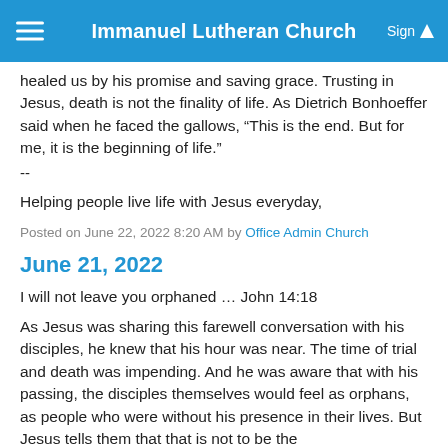Immanuel Lutheran Church
healed us by his promise and saving grace. Trusting in Jesus, death is not the finality of life. As Dietrich Bonhoeffer said when he faced the gallows, “This is the end. But for me, it is the beginning of life.”
--
Helping people live life with Jesus everyday,
Posted on June 22, 2022 8:20 AM by Office Admin Church
June 21, 2022
I will not leave you orphaned … John 14:18
As Jesus was sharing this farewell conversation with his disciples, he knew that his hour was near. The time of trial and death was impending. And he was aware that with his passing, the disciples themselves would feel as orphans, as people who were without his presence in their lives. But Jesus tells them that that is not to be the